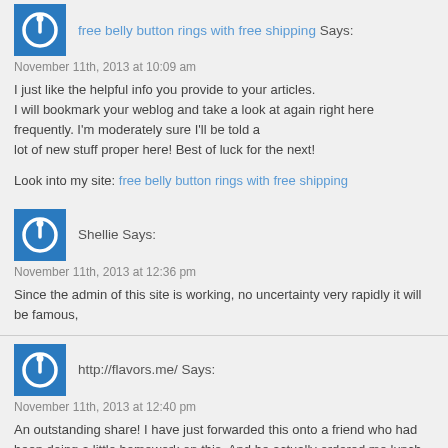free belly button rings with free shipping Says:
November 11th, 2013 at 10:09 am
I just like the helpful info you provide to your articles. I will bookmark your weblog and take a look at again right here frequently. I'm moderately sure I'll be told a lot of new stuff proper here! Best of luck for the next!
Look into my site: free belly button rings with free shipping
Shellie Says:
November 11th, 2013 at 12:36 pm
Since the admin of this site is working, no uncertainty very rapidly it will be famous,
http://flavors.me/ Says:
November 11th, 2013 at 12:40 pm
An outstanding share! I have just forwarded this onto a friend who had been doing a little homework on this. And he actually ordered me lunch due to the fact that I found it for him…